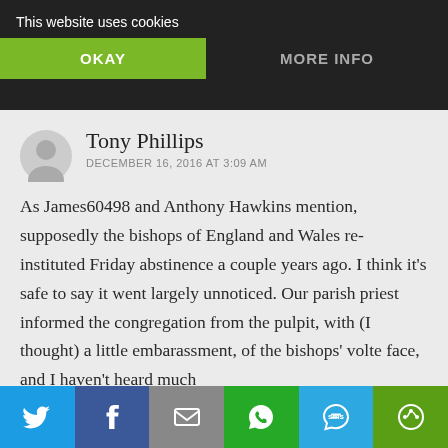This website uses cookies
OKAY
MORE INFO
Tony Phillips
DECEMBER 16, 2016 AT 3:09 AM
As James60498 and Anthony Hawkins mention, supposedly the bishops of England and Wales re-instituted Friday abstinence a couple years ago. I think it’s safe to say it went largely unnoticed. Our parish priest informed the congregation from the pulpit, with (I thought) a little embarassment, of the bishops’ volte face, and I haven’t heard much
[Figure (infographic): Social share bar with icons for Twitter, Facebook, Email, WhatsApp, SMS, and another share option]